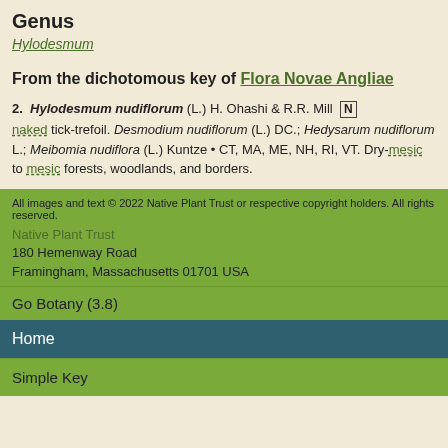Genus
Hylodesmum
From the dichotomous key of Flora Novae Angliae
2. Hylodesmum nudiflorum (L.) H. Ohashi & R.R. Mill [N]
naked tick-trefoil. Desmodium nudiflorum (L.) DC.; Hedysarum nudiflorum L.; Meibomia nudiflora (L.) Kuntze • CT, MA, ME, NH, RI, VT. Dry-mesic to mesic forests, woodlands, and borders.
All images and text © 2022 Native Plant Trust or respective copyright holders. All rights reserved.
Native Plant Trust
180 Hemenway Road
Framingham, Massachusetts 01701 USA
Go Botany (3.8)
Home
Simple Key